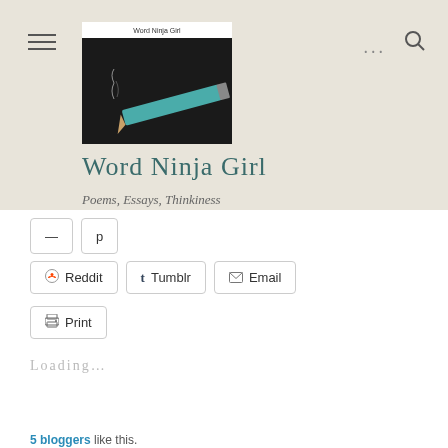[Figure (screenshot): Blog header image showing a teal/green pencil with smoke rising from its tip against a dark background, with 'Word Ninja Girl' label at top]
Word Ninja Girl
Poems, Essays, Thinkiness
Reddit  Tumblr  Email  Print (share buttons)
Loading...
Like
5 bloggers like this.